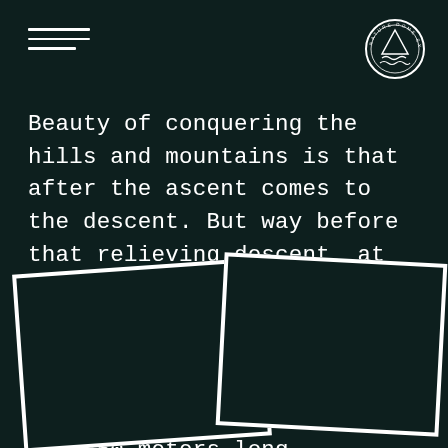[Figure (illustration): Three horizontal lines (hamburger menu icon) in white on dark teal background, top left]
[Figure (logo): Circular badge/logo with mountain and wave motif, white outline on dark teal, top right]
Beauty of conquering the hills and mountains is that after the ascent comes to the descent. But way before that relieving descent, at the bottom of the mountain, was the lake called Rovni and the unnatural concrete wonder built on it – Rovni dam that is 75 meters high and 450 meters long.
[Figure (illustration): Two overlapping polaroid-style photo frames (dark/empty) in the bottom portion of the page, rotated slightly in opposite directions]